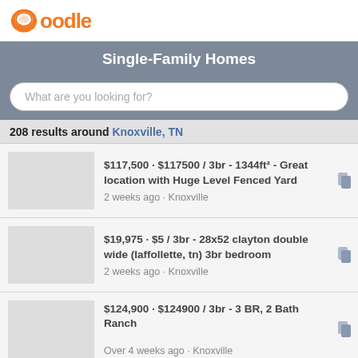[Figure (logo): Oodle logo with orange chat bubble icon and orange/grey text]
Single-Family Homes
What are you looking for?
208 results around Knoxville, TN
$117,500 · $117500 / 3br - 1344ft² - Great location with Huge Level Fenced Yard
2 weeks ago · Knoxville
$19,975 · $5 / 3br - 28x52 clayton double wide (laffollette, tn) 3br bedroom
2 weeks ago · Knoxville
$124,900 · $124900 / 3br - 3 BR, 2 Bath Ranch
Over 4 weeks ago · Knoxville
$21,000 · $2 / 3br - 1250ft² - SWEAT EQUITY NEEDED, LAND HOME PACKAGE (HARRIMAN) 3br